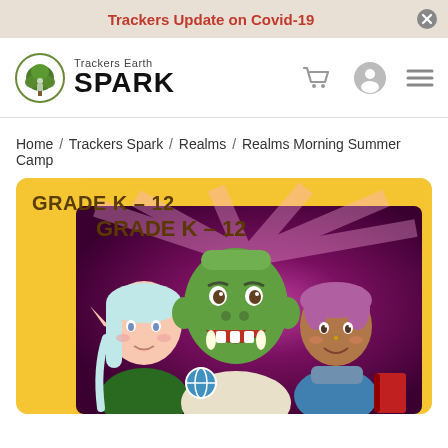Trackers Update on Covid-19
[Figure (logo): Trackers Earth SPARK logo with tree icon]
Home / Trackers Spark / Realms / Realms Morning Summer Camp
[Figure (illustration): Cartoon illustration of three fantasy characters (elf, orc, human) on a golden yellow background with text GRADE K - 12]